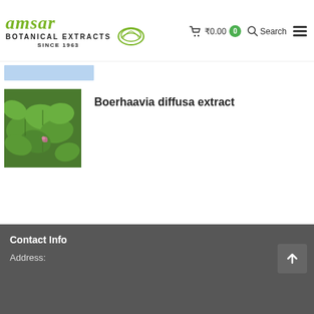amsar BOTANICAL EXTRACTS SINCE 1963 | ₹0.00 0 | Search
[Figure (screenshot): Partially visible product listing with blue highlight bar above]
[Figure (photo): Photo of Boerhaavia diffusa plant with green leaves and small pink flowers]
Boerhaavia diffusa extract
Contact Info
Address: